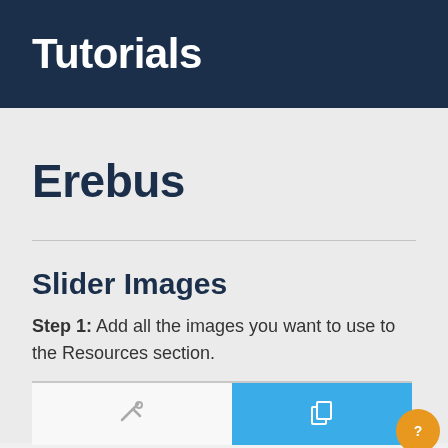Tutorials
Erebus
Slider Images
Step 1: Add all the images you want to use to the Resources section.
[Figure (screenshot): Bottom portion of a UI showing a toolbar with a wrench icon on the left white panel and a copy/resources icon on the right blue panel, plus an orange circular help button in the bottom right corner.]